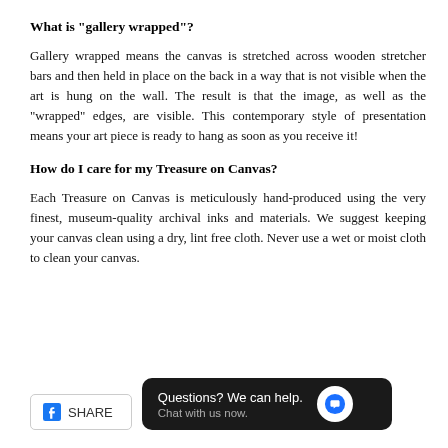What is "gallery wrapped"?
Gallery wrapped means the canvas is stretched across wooden stretcher bars and then held in place on the back in a way that is not visible when the art is hung on the wall. The result is that the image, as well as the “wrapped” edges, are visible. This contemporary style of presentation means your art piece is ready to hang as soon as you receive it!
How do I care for my Treasure on Canvas?
Each Treasure on Canvas is meticulously hand-produced using the very finest, museum-quality archival inks and materials. We suggest keeping your canvas clean using a dry, lint free cloth. Never use a wet or moist cloth to clean your canvas.
[Figure (screenshot): Facebook Share button and a chat widget saying 'Questions? We can help. Chat with us now.' with a blue chat icon on dark background]